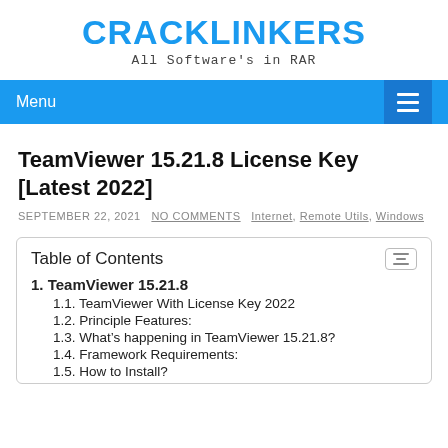CRACKLINKERS
All Software's in RAR
TeamViewer 15.21.8 License Key [Latest 2022]
SEPTEMBER 22, 2021  NO COMMENTS  Internet, Remote Utils, Windows
Table of Contents
1. TeamViewer 15.21.8
1.1. TeamViewer With License Key 2022
1.2. Principle Features:
1.3. What's happening in TeamViewer 15.21.8?
1.4. Framework Requirements:
1.5. How to Install?